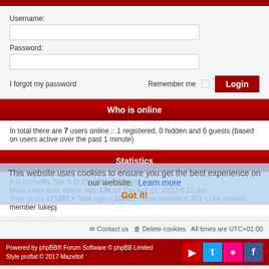Username:
Password:
I forgot my password
Remember me
Who is online
In total there are 7 users online :: 1 registered, 0 hidden and 6 guests (based on users active over the past 1 minute)
Statistics
It is currently Tue Aug 23, 2022 7:51 pm
Most users ever online was 136 on Thu Apr 21, 2022 9:22 am
Total posts 171292 • Total topics 10965 • Total members 371 • Our newest member lukepj
This website uses cookies to ensure you get the best experience on our website.  Learn more
Got it!
Contact us   Delete cookies   All times are UTC+01:00
Powered by phpBB® Forum Software © phpBB Limited
Style proflat © 2017 Mazeltof